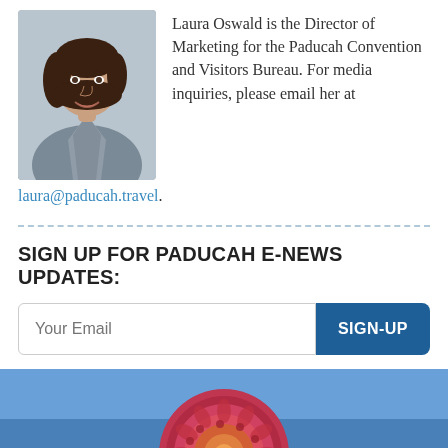[Figure (photo): Professional headshot of Laura Oswald, a woman with dark curly hair wearing a grey blazer, smiling at the camera]
Laura Oswald is the Director of Marketing for the Paducah Convention and Visitors Bureau. For media inquiries, please email her at laura@paducah.travel.
SIGN UP FOR PADUCAH E-NEWS UPDATES:
[Figure (photo): Colorful mandala-style artwork with a blue background and intricate pink, red, and gold circular patterns]